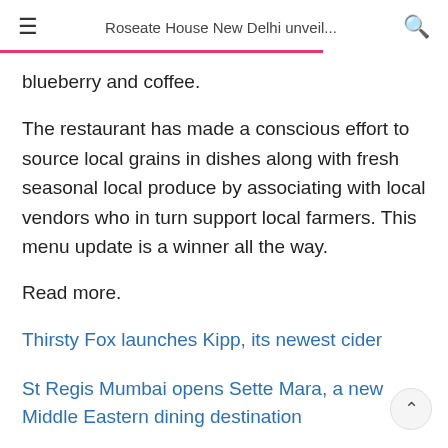Roseate House New Delhi unveil...
blueberry and coffee.
The restaurant has made a conscious effort to source local grains in dishes along with fresh seasonal local produce by associating with local vendors who in turn support local farmers. This menu update is a winner all the way.
Read more.
Thirsty Fox launches Kipp, its newest cider
St Regis Mumbai opens Sette Mara, a new Middle Eastern dining destination